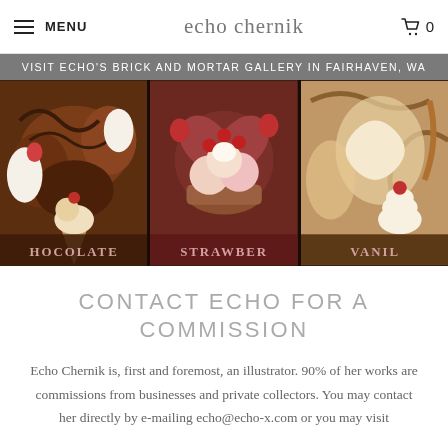MENU | echo chernik | 0
VISIT ECHO'S BRICK AND MORTAR GALLERY IN FAIRHAVEN, WA
[Figure (illustration): Three decorative fantasy illustrations showing dessert/food scenes. Left panel labeled CHOCOLATE, center panel labeled STRAWBERRY, right panel labeled VANILLA. Rich warm colors with browns, reds, and cream tones.]
CONTACT ECHO FOR A COMMISSION
Echo Chernik is, first and foremost, an illustrator. 90% of her works are commissions from businesses and private collectors. You may contact her directly by e-mailing echo@echo-x.com or you may visit